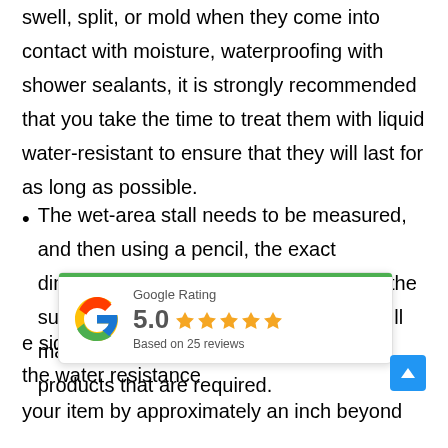swell, split, or mold when they come into contact with moisture, waterproofing with shower sealants, it is strongly recommended that you take the time to treat them with liquid water-resistant to ensure that they will last for as long as possible.
The wet-area stall needs to be measured, and then using a pencil, the exact dimensions need to be marked on both the support board and the stall itself. This will make it abundantly clear where the products that are required.
the side of caution, it's a the water resistance your item by approximately an inch beyond
[Figure (infographic): Google Rating widget showing 5.0 stars based on 25 reviews, with green top bar and Google G logo]